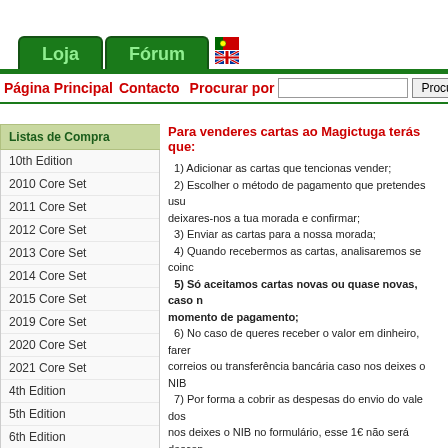Loja | Fórum | [PT flag] [UK flag]
Página Principal Contacto Procurar por [input] Procurar (Pesqui...
Listas de Compra
10th Edition
2010 Core Set
2011 Core Set
2012 Core Set
2013 Core Set
2014 Core Set
2015 Core Set
2019 Core Set
2020 Core Set
2021 Core Set
4th Edition
5th Edition
6th Edition
Para venderes cartas ao Magictuga terás que:
1) Adicionar as cartas que tencionas vender;
2) Escolher o método de pagamento que pretendes usar, deixares-nos a tua morada e confirmar;
3) Enviar as cartas para a nossa morada;
4) Quando recebermos as cartas, analisaremos se coinc...
5) Só aceitamos cartas novas ou quase novas, caso no momento de pagamento;
6) No caso de queres receber o valor em dinheiro, farem... correios ou transferência bancária caso nos deixes o NIE...
7) Por forma a cobrir as despesas do envio do vale dos ... nos deixes o NIB no formulário, esse 1€ não será descont...
8) No caso de queres receber o valor em ca$h, basta est...
9) Podes utilizar ca$h para comprar cartas no Magictug...
10) As cartas devem ser nos enviadas num prazo máxi...
| Magictuga compra: | Compra foils: | Magictuga vende: | D... en... ca... |
| --- | --- | --- | --- |
| Nome | Edição | Rar | Procuramos |  |